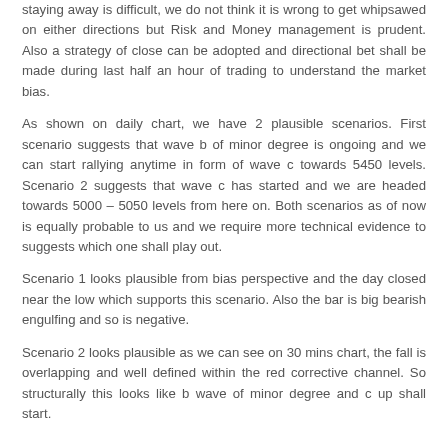staying away is difficult, we do not think it is wrong to get whipsawed on either directions but Risk and Money management is prudent. Also a strategy of close can be adopted and directional bet shall be made during last half an hour of trading to understand the market bias.
As shown on daily chart, we have 2 plausible scenarios. First scenario suggests that wave b of minor degree is ongoing and we can start rallying anytime in form of wave c towards 5450 levels. Scenario 2 suggests that wave c has started and we are headed towards 5000 – 5050 levels from here on. Both scenarios as of now is equally probable to us and we require more technical evidence to suggests which one shall play out.
Scenario 1 looks plausible from bias perspective and the day closed near the low which supports this scenario. Also the bar is big bearish engulfing and so is negative.
Scenario 2 looks plausible as we can see on 30 mins chart, the fall is overlapping and well defined within the red corrective channel. So structurally this looks like b wave of minor degree and c up shall start.